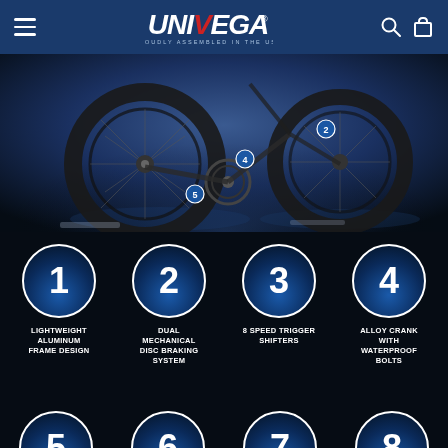Univega - Proudly Assembled in the USA
[Figure (photo): Close-up of a mountain bike drivetrain and rear wheel, dark moody background with numbered callout markers (2, 4, 5) indicating specific bike components]
1 - LIGHTWEIGHT ALUMINUM FRAME DESIGN
2 - DUAL MECHANICAL DISC BRAKING SYSTEM
3 - 8 SPEED TRIGGER SHIFTERS
4 - ALLOY CRANK WITH WATERPROOF BOLTS
5
6
7
8